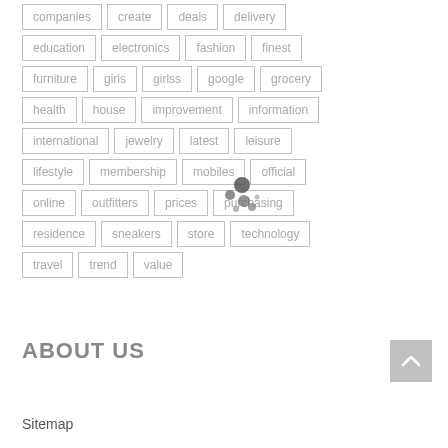companies  create  deals  delivery
education  electronics  fashion  finest
furniture  girls  girlss  google  grocery
health  house  improvement  information
international  jewelry  latest  leisure
lifestyle  membership  mobiles  official
online  outfitters  prices  purchasing
residence  sneakers  store  technology
travel  trend  value
ABOUT US
Sitemap